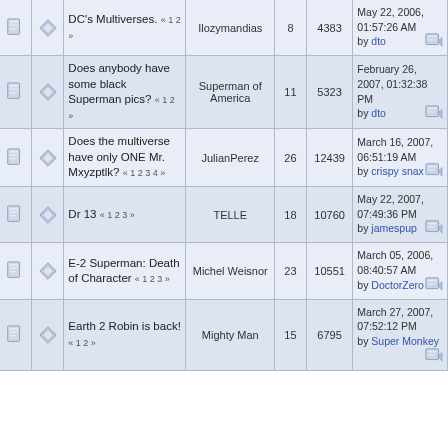|  |  | Topic | Author | Replies | Views | Last Post |
| --- | --- | --- | --- | --- | --- | --- |
| [icon] | [icon] | DC's Multiverses. « 1 2 » | Ilozymandias | 8 | 4383 | May 22, 2006, 01:57:26 AM by dto |
| [icon] | [icon] | Does anybody have some black Superman pics? « 1 2 » | Superman of America | 11 | 5323 | February 26, 2007, 01:32:38 PM by dto |
| [icon] | [icon] | Does the multiverse have only ONE Mr. Mxyzptlk? « 1 2 3 4 » | JulianPerez | 26 | 12439 | March 16, 2007, 06:51:19 AM by crispy snax |
| [icon] | [icon] | Dr 13 « 1 2 3 » | TELLE | 18 | 10760 | May 22, 2007, 07:49:36 PM by jamespup |
| [icon] | [icon] | E-2 Superman: Death of Character « 1 2 3 » | Michel Weisnor | 23 | 10551 | March 05, 2006, 08:40:57 AM by DoctorZero |
| [icon] | [icon] | Earth 2 Robin is back! « 1 2 » | Mighty Man | 15 | 6795 | March 27, 2007, 07:52:12 PM by Super Monkey |